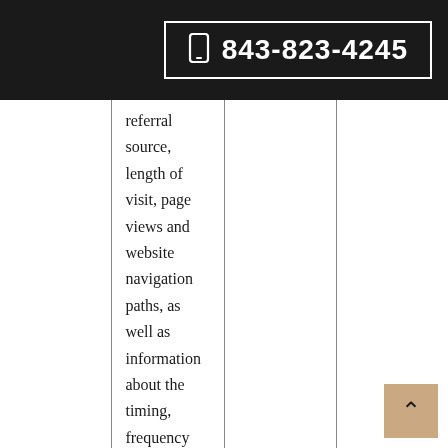843-823-4245
referral source, length of visit, page views and website navigation paths, as well as information about the timing, frequency and pattern of your
[Figure (other): Back-to-top arrow button with tan/beige background]